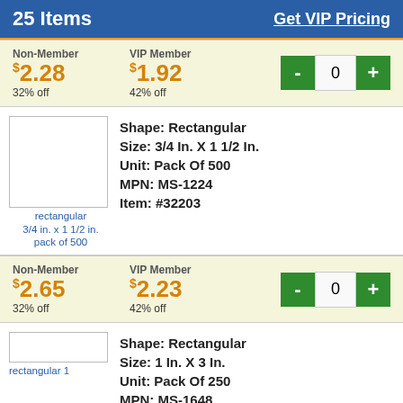25 Items   Get VIP Pricing
| Non-Member | VIP Member | Qty |
| --- | --- | --- |
| $2.28 / 32% off | $1.92 / 42% off | - 0 + |
[Figure (photo): Broken image placeholder for rectangular 3/4 in. x 1 1/2 in. pack of 500]
Shape: Rectangular
Size: 3/4 In. X 1 1/2 In.
Unit: Pack Of 500
MPN: MS-1224
Item: #32203
| Non-Member | VIP Member | Qty |
| --- | --- | --- |
| $2.65 / 32% off | $2.23 / 42% off | - 0 + |
[Figure (photo): Broken image placeholder for rectangular 1 in. x 3 in. pack of 250]
Shape: Rectangular
Size: 1 In. X 3 In.
Unit: Pack Of 250
MPN: MS-1648